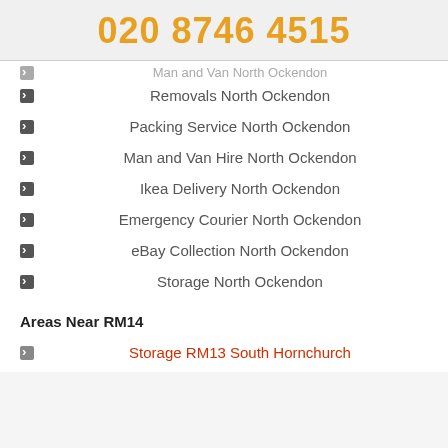020 8746 4515
Removals North Ockendon
Packing Service North Ockendon
Man and Van Hire North Ockendon
Ikea Delivery North Ockendon
Emergency Courier North Ockendon
eBay Collection North Ockendon
Storage North Ockendon
Areas Near RM14
Storage RM13 South Hornchurch